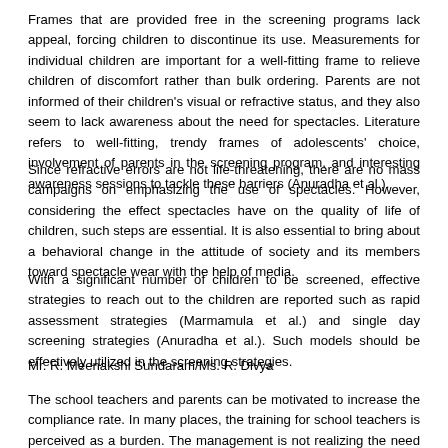Frames that are provided free in the screening programs lack appeal, forcing children to discontinue its use. Measurements for individual children are important for a well-fitting frame to relieve children of discomfort rather than bulk ordering. Parents are not informed of their children's visual or refractive status, and they also seem to lack awareness about the need for spectacles. Literature refers to well-fitting, trendy frames of adolescents' choice, involvement of parents in the screening program, and interesting awareness sessions to tackle these barriers (Anuradha et al.).
Since refractive errors are not life-threatening, there are no mass campaigns on emphasizing the use of spectacles. However, considering the effect spectacles have on the quality of life of children, such steps are essential. It is also essential to bring about a behavioral change in the attitude of society and its members toward spectacle wear with the help of media.
With a significant number of children to be screened, effective strategies to reach out to the children are reported such as rapid assessment strategies (Marmamula et al.) and single day screening strategies (Anuradha et al.). Such models should be effectively utilized in the screening strategies.
Mr. R. Meenakshi Sundaram/Ms. R. Divya
The school teachers and parents can be motivated to increase the compliance rate. In many places, the training for school teachers is perceived as a burden. The management is not realizing the need for such kind of training and focusing the academic activities. The training exposure given on